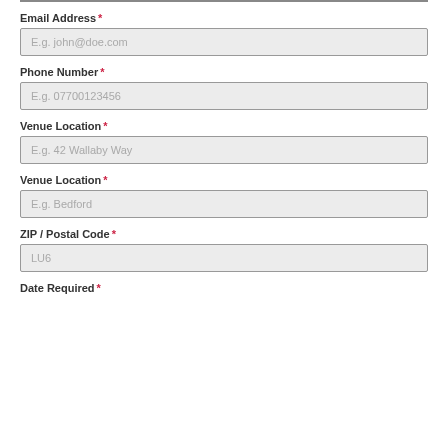Email Address *
E.g. john@doe.com
Phone Number *
E.g. 07700123456
Venue Location *
E.g. 42 Wallaby Way
Venue Location *
E.g. Bedford
ZIP / Postal Code *
LU6
Date Required *